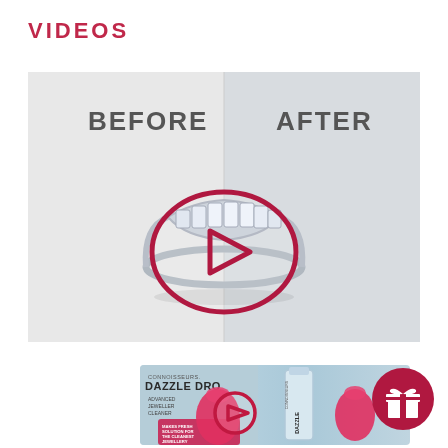VIDEOS
[Figure (screenshot): Before/After video thumbnail showing a diamond ring with a play button overlay. Left side labeled BEFORE (slightly dull ring), right side labeled AFTER (sparkling ring). A dark red/crimson oval play button is centered over the image.]
[Figure (screenshot): Connoisseurs Dazzle Drops Advanced Jewellery Cleaner product video thumbnail with pink play button overlay. Text includes CONNOISSEURS, DAZZLE DROPS, ADVANCED JEWELLERY CLEANER, MAKES FRESH SOLUTION FOR THE CLEANEST JEWELLERY.]
[Figure (illustration): Dark red circular gift icon button in bottom right corner.]